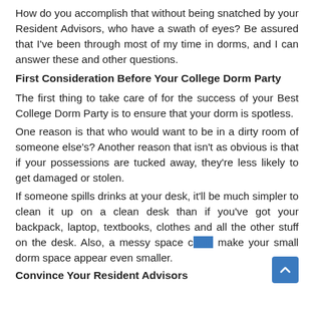How do you accomplish that without being snatched by your Resident Advisors, who have a swath of eyes? Be assured that I've been through most of my time in dorms, and I can answer these and other questions.
First Consideration Before Your College Dorm Party
The first thing to take care of for the success of your Best College Dorm Party is to ensure that your dorm is spotless.
One reason is that who would want to be in a dirty room of someone else's? Another reason that isn't as obvious is that if your possessions are tucked away, they're less likely to get damaged or stolen.
If someone spills drinks at your desk, it'll be much simpler to clean it up on a clean desk than if you've got your backpack, laptop, textbooks, clothes and all the other stuff on the desk. Also, a messy space could make your small dorm space appear even smaller.
Convince Your Resident Advisors